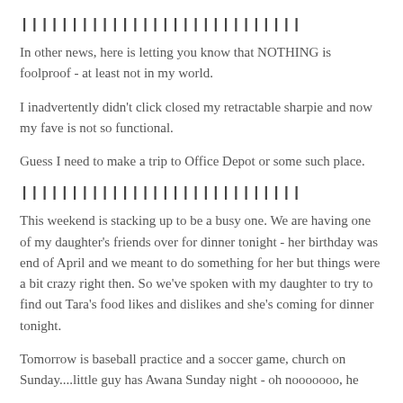||||||||||||||||||||||||||||
In other news, here is letting you know that NOTHING is foolproof - at least not in my world.
I inadvertently didn't click closed my retractable sharpie and now my fave is not so functional.
Guess I need to make a trip to Office Depot or some such place.
||||||||||||||||||||||||||||
This weekend is stacking up to be a busy one. We are having one of my daughter's friends over for dinner tonight - her birthday was end of April and we meant to do something for her but things were a bit crazy right then. So we've spoken with my daughter to try to find out Tara's food likes and dislikes and she's coming for dinner tonight.
Tomorrow is baseball practice and a soccer game, church on Sunday....little guy has Awana Sunday night - oh nooooooo, he